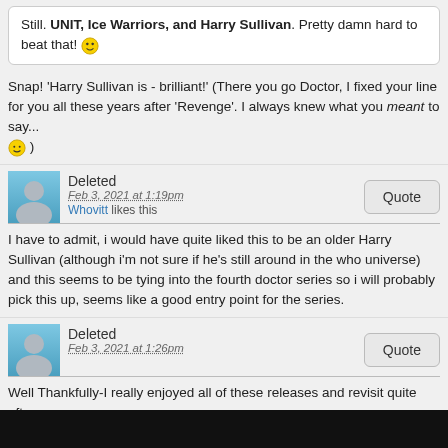Still. UNIT, Ice Warriors, and Harry Sullivan. Pretty damn hard to beat that! 😁
Snap! 'Harry Sullivan is - brilliant!' (There you go Doctor, I fixed your line for you all these years after 'Revenge'. I always knew what you meant to say... 🙂 )
Deleted
Feb 3, 2021 at 1:19pm
Whovitt likes this
I have to admit, i would have quite liked this to be an older Harry Sullivan (although i'm not sure if he's still around in the who universe) and this seems to be tying into the fourth doctor series so i will probably pick this up, seems like a good entry point for the series.
Deleted
Feb 3, 2021 at 1:26pm
Well Thankfully-I really enjoyed all of these releases and revisit quite often